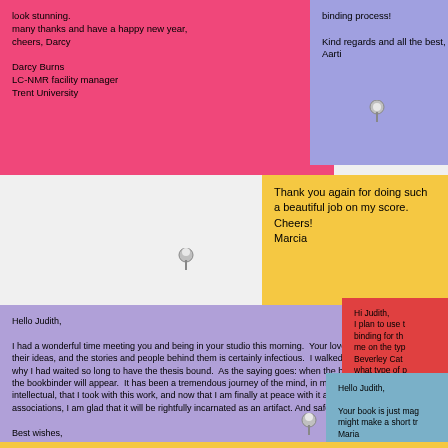look stunning.
many thanks and have a happy new year,
cheers, Darcy

Darcy Burns
LC-NMR facility manager
Trent University
binding process!

Kind regards and all the best,
Aarti
Thank you again for doing such a beautiful job on my score.
Cheers!
Marcia
Hello Judith,

I had a wonderful time meeting you and being in your studio this morning. Your love for books, their ideas, and the stories and people behind them is certainly infectious. I walked away knowing why I had waited so long to have the thesis bound. As the saying goes: when the book is ready, the bookbinder will appear. It has been a tremendous journey of the mind, in more ways than just intellectual, that I took with this work, and now that I am finally at peace with it and with all its associations, I am glad that it will be rightfully incarnated as an artifact. And safe in your hands.

Best wishes,
Jenny
Hi Judith,
I plan to use t
binding for th
me on the typ
Beverley Cat
what type of p

Regards,
Jackie Hochm
Hello Judith,

Your book is just mag
might make a short tr
Maria
-
Maria Soteriades